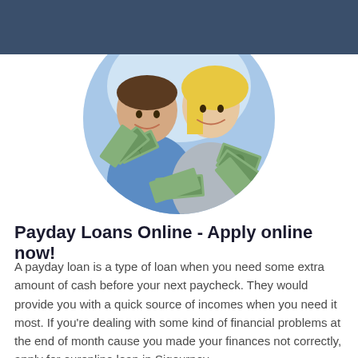[Figure (logo): New Jersey Loans Online logo with golden circle badge]
[Figure (photo): Smiling couple holding fans of cash money, displayed in a circular frame]
Payday Loans Online - Apply online now!
A payday loan is a type of loan when you need some extra amount of cash before your next paycheck. They would provide you with a quick source of incomes when you need it most. If you're dealing with some kind of financial problems at the end of month cause you made your finances not correctly, apply for ouronline loan in Sigourney.